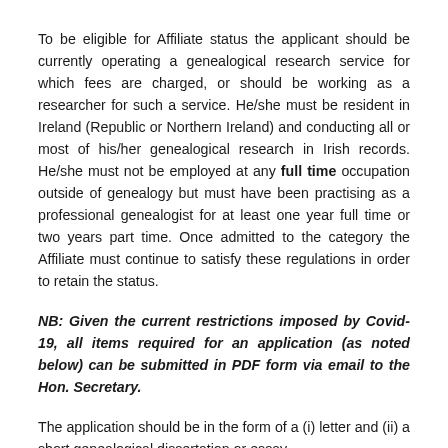To be eligible for Affiliate status the applicant should be currently operating a genealogical research service for which fees are charged, or should be working as a researcher for such a service. He/she must be resident in Ireland (Republic or Northern Ireland) and conducting all or most of his/her genealogical research in Irish records. He/she must not be employed at any full time occupation outside of genealogy but must have been practising as a professional genealogist for at least one year full time or two years part time. Once admitted to the category the Affiliate must continue to satisfy these regulations in order to retain the status.
NB: Given the current restrictions imposed by Covid-19, all items required for an application (as noted below) can be submitted in PDF form via email to the Hon. Secretary.
The application should be in the form of a (i) letter and (ii) a short genealogical dissertation or essay.